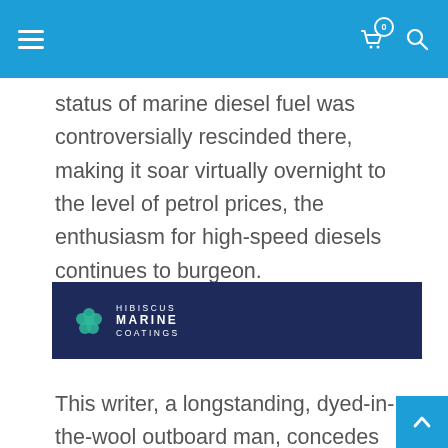Navigation header with hamburger menu, cart icon with badge 0, and search icon
status of marine diesel fuel was controversially rescinded there, making it soar virtually overnight to the level of petrol prices, the enthusiasm for high-speed diesels continues to burgeon.
[Figure (logo): Hibiscus Marine Coatings logo on dark navy blue banner]
This writer, a longstanding, dyed-in-the-wool outboard man, concedes that there may just be some applications that might suit such new-generation diesels. Some of the larger automotive companies – such as BMW with the engines it's suppling to Yanmar for the "BY" series